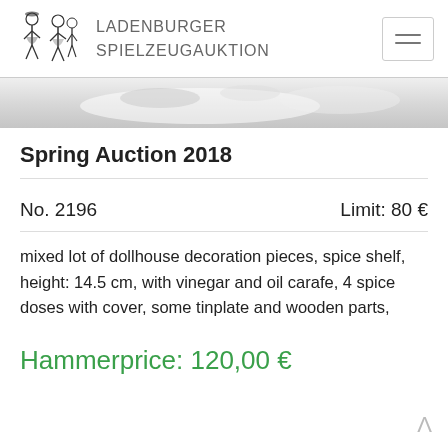LADENBURGER SPIELZEUGAUKTION
[Figure (photo): Partial photo of dollhouse decoration pieces, showing blurred objects against light background]
Spring Auction 2018
No. 2196    Limit: 80 €
mixed lot of dollhouse decoration pieces, spice shelf, height: 14.5 cm, with vinegar and oil carafe, 4 spice doses with cover, some tinplate and wooden parts,
Hammerprice: 120,00 €